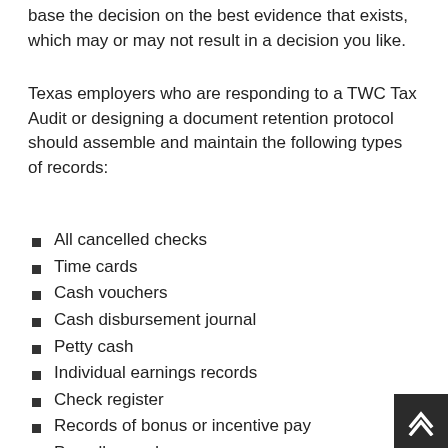base the decision on the best evidence that exists, which may or may not result in a decision you like.
Texas employers who are responding to a TWC Tax Audit or designing a document retention protocol should assemble and maintain the following types of records:
All cancelled checks
Time cards
Cash vouchers
Cash disbursement journal
Petty cash
Individual earnings records
Check register
Records of bonus or incentive pay
Payroll records
TWC tax reports
IRS Forms 940, W-2, and W-3